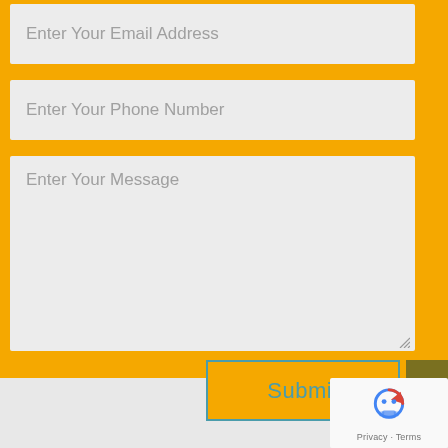Enter Your Email Address
Enter Your Phone Number
Enter Your Message
Submit
[Figure (illustration): reCAPTCHA widget with robot icon, Privacy and Terms links]
Privacy · Terms